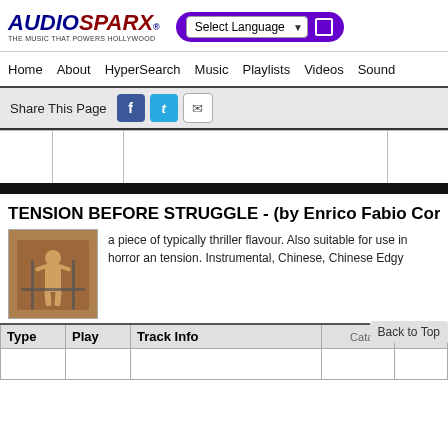AUDIOSPARX® THE MUSIC THAT POWERS HOLLYWOOD — Select Language
Home   About   HyperSearch   Music   Playlists   Videos   Sound
Share This Page [Facebook] [Twitter] [Email]
TENSION BEFORE STRUGGLE - (by Enrico Fabio Corte...
a piece of typically thriller flavour. Also suitable for use in horror an... tension. Instrumental, Chinese, Chinese Edgy
| Type | Play | Track Info | Catalog | ID |
| --- | --- | --- | --- | --- |